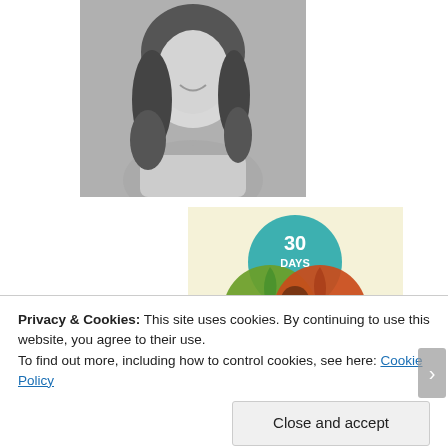[Figure (photo): Black and white portrait photo of a smiling woman with curly dark hair]
[Figure (infographic): NaNoWriMo Venn diagram infographic: 30 Days (teal circle), 50,000 Words (green circle), 300,000 Writers (red/orange circle), overlapping in center. Four colored block letters at bottom: Na, No, Wri, Mo]
Privacy & Cookies: This site uses cookies. By continuing to use this website, you agree to their use.
To find out more, including how to control cookies, see here: Cookie Policy
Close and accept